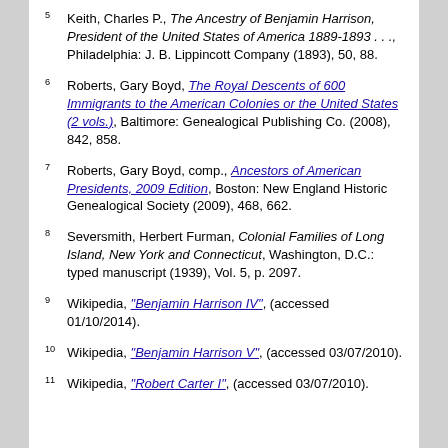5 Keith, Charles P., The Ancestry of Benjamin Harrison, President of the United States of America 1889-1893 . . ., Philadelphia: J. B. Lippincott Company (1893), 50, 88.
6 Roberts, Gary Boyd, The Royal Descents of 600 Immigrants to the American Colonies or the United States (2 vols.), Baltimore: Genealogical Publishing Co. (2008), 842, 858.
7 Roberts, Gary Boyd, comp., Ancestors of American Presidents, 2009 Edition, Boston: New England Historic Genealogical Society (2009), 468, 662.
8 Seversmith, Herbert Furman, Colonial Families of Long Island, New York and Connecticut, Washington, D.C.: typed manuscript (1939), Vol. 5, p. 2097.
9 Wikipedia, "Benjamin Harrison IV", (accessed 01/10/2014).
10 Wikipedia, "Benjamin Harrison V", (accessed 03/07/2010).
11 Wikipedia, "Robert Carter I", (accessed 03/07/2010).